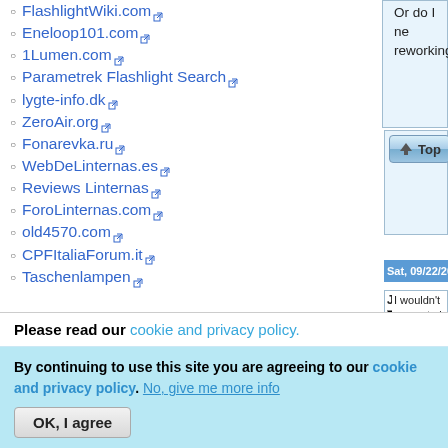FlashlightWiki.com
Eneloop101.com
1Lumen.com
Parametrek Flashlight Search
lygte-info.dk
ZeroAir.org
Fonarevka.ru
WebDeLinternas.es
Reviews Linternas
ForoLinternas.com
old4570.com
CPFItaliaForum.it
Taschenlampen
Sat, 09/22/2018 - 05:27
JasonWW
[Figure (photo): User avatar showing a glowing purple/pink orb on black background]
Offline
Last seen: 3 days
I wouldn't accurate i from the i drop dow If the read not much the factory coating o
Or do I ne reworking
Please read our cookie and privacy policy.
By continuing to use this site you are agreeing to our cookie and privacy policy. No, give me more info
OK, I agree